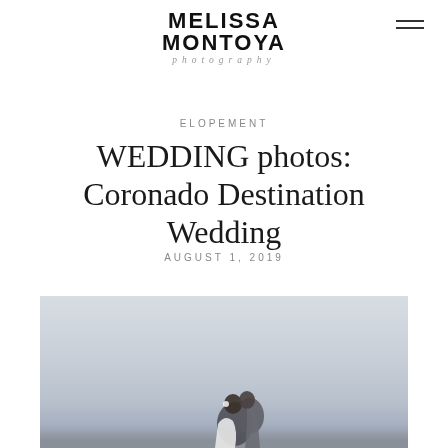MELISSA MONTOYA photography
ELOPEMENT
WEDDING photos: Coronado Destination Wedding
AUGUST 1, 2019
[Figure (photo): A couple kissing/embracing against a soft grey sky background, wedding portrait]